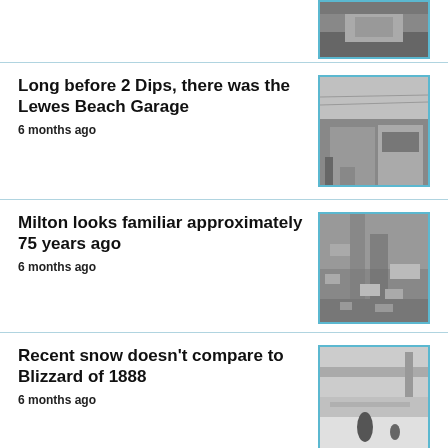[Figure (photo): Partial historical black and white photo at top right of page]
Long before 2 Dips, there was the Lewes Beach Garage
6 months ago
[Figure (photo): Black and white photo of the Lewes Beach Garage building]
Milton looks familiar approximately 75 years ago
6 months ago
[Figure (photo): Black and white aerial photo of Milton]
Recent snow doesn't compare to Blizzard of 1888
6 months ago
[Figure (photo): Black and white photo of deep snow during Blizzard of 1888]
A different looking...